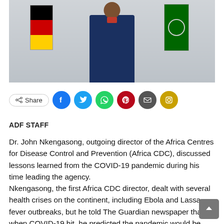[Figure (photo): Dr. John Nkengasong standing in front of German flag and African Union flag, wearing a dark navy suit]
[Figure (infographic): Social sharing bar with Share button, Facebook, Twitter, WhatsApp, Pinterest, Email, and Instagram icons]
ADF STAFF
Dr. John Nkengasong, outgoing director of the Africa Centres for Disease Control and Prevention (Africa CDC), discussed lessons learned from the COVID-19 pandemic during his time leading the agency.
Nkengasong, the first Africa CDC director, dealt with several health crises on the continent, including Ebola and Lassa fever outbreaks, but he told The Guardian newspaper that when COVID-19 hit, he predicted the pandemic would be "the greatest geopolitical struggle that the continent will go